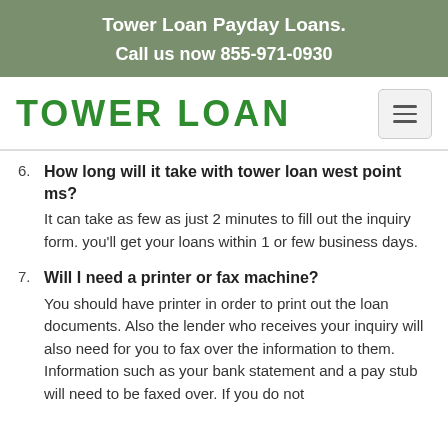Tower Loan Payday Loans.
Call us now 855-971-0930
[Figure (logo): Tower Loan green text logo with hamburger menu icon]
6. How long will it take with tower loan west point ms?
It can take as few as just 2 minutes to fill out the inquiry form. you'll get your loans within 1 or few business days.
7. Will I need a printer or fax machine?
You should have printer in order to print out the loan documents. Also the lender who receives your inquiry will also need for you to fax over the information to them. Information such as your bank statement and a pay stub will need to be faxed over. If you do not